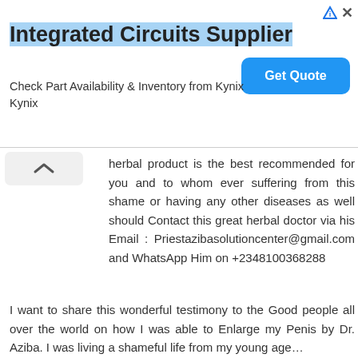[Figure (screenshot): Advertisement banner for Integrated Circuits Supplier - Kynix, with a blue 'Get Quote' button and triangular ad icon in top right corner.]
herbal product is the best recommended for you and to whom ever suffering from this shame or having any other diseases as well should Contact this great herbal doctor via his Email : Priestazibasolutioncenter@gmail.com and WhatsApp Him on +2348100368288
I want to share this wonderful testimony to the Good people all over the world on how I was able to Enlarge my Penis by Dr. Aziba. I was living a shameful life from my young age…